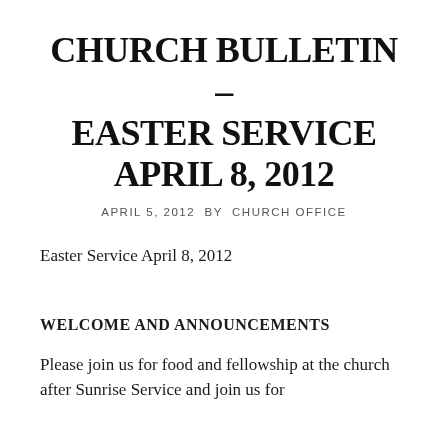CHURCH BULLETIN – EASTER SERVICE APRIL 8, 2012
APRIL 5, 2012 BY CHURCH OFFICE
Easter Service April 8, 2012
WELCOME AND ANNOUNCEMENTS
Please join us for food and fellowship at the church after Sunrise Service and join us for